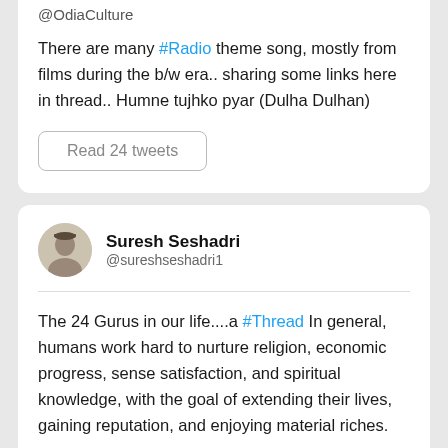@OdiaCulture
There are many #Radio theme song, mostly from films during the b/w era.. sharing some links here in thread.. Humne tujhko pyar (Dulha Dulhan)
Read 24 tweets
Suresh Seshadri @sureshseshadri1
The 24 Gurus in our life....a #Thread In general, humans work hard to nurture religion, economic progress, sense satisfaction, and spiritual knowledge, with the goal of extending their lives, gaining reputation, and enjoying material riches.